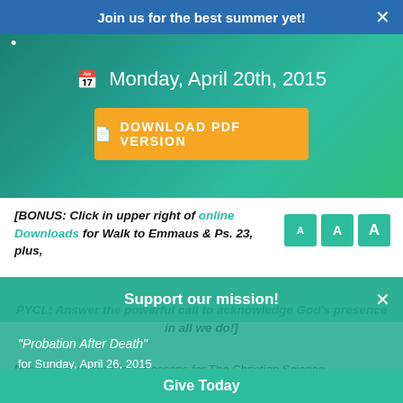Join us for the best summer yet!
Monday, April 20th, 2015
DOWNLOAD PDF VERSION
[BONUS: Click in upper right of online Downloads for Walk to Emmaus & Ps. 23, plus, PYCL: Answer the powerful call to acknowledge God's presence in all we do!]
Possible Younger Class Lessons for The Christian Science
Support our mission!
"Probation After Death"
for Sunday, April 26, 2015
Give Today